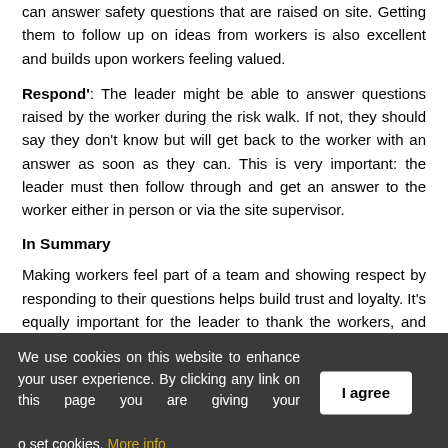can answer safety questions that are raised on site. Getting them to follow up on ideas from workers is also excellent and builds upon workers feeling valued.
Respond': The leader might be able to answer questions raised by the worker during the risk walk. If not, they should say they don't know but will get back to the worker with an answer as soon as they can. This is very important: the leader must then follow through and get an answer to the worker either in person or via the site supervisor.
In Summary
Making workers feel part of a team and showing respect by responding to their questions helps build trust and loyalty. It's equally important for the leader to thank the workers, and acknowledge that they are the people who make the project
We use cookies on this website to enhance your user experience. By clicking any link on this page you are giving your consent for us to set cookies. More info